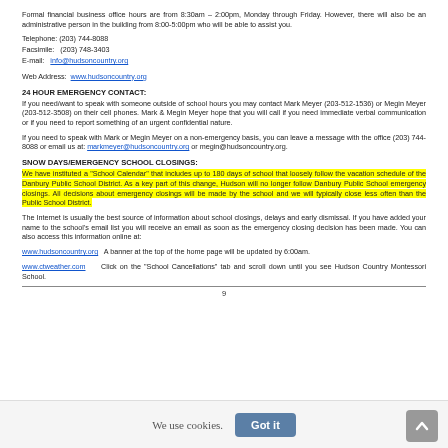Formal financial business office hours are from 8:30am – 2:00pm, Monday through Friday. However, there will also be an administrative person in the building from 8:00-5:00pm who will be able to assist you.
Telephone: (203) 744-8088
Facsimile:   (203) 748-3403
E-mail:  info@hudsoncountry.org
Web Address:  www.hudsoncountry.org
24 HOUR EMERGENCY CONTACT:
If you need/want to speak with someone outside of school hours you may contact Mark Meyer (203-512-1536) or Megin Meyer (203-512-3508) on their cell phones. Mark & Megin Meyer hope that you will call if you need immediate verbal communication or if you need to report something of an urgent confidential nature.
If you need to speak with Mark or Megin Meyer on a non-emergency basis, you can leave a message with the office (203) 744-8088 or email us at: markmeyer@hudsoncountry.org or megin@hudsoncountry.org.
SNOW DAYS/EMERGENCY SCHOOL CLOSINGS:
We have instituted a "School Calendar" that includes up to 180 days of school that loosely follow the vacation schedule of the Danbury Public School District. As a key part of this change, Hudson will no longer follow Danbury Public School emergency closings. All decisions about emergency closings will be made by the school and we will typically close less often than the Public School District.
The Internet is usually the best source of information about school closings, delays and early dismissal. If you have added your name to the school's email list you will receive an email as soon as the emergency closing decision has been made. You can also access this information online at:
www.hudsoncountry.org   A banner at the top of the home page will be updated by 6:00am.
www.ctweather.com     Click on the "School Cancellations" tab and scroll down until you see Hudson Country Montessori School.
9